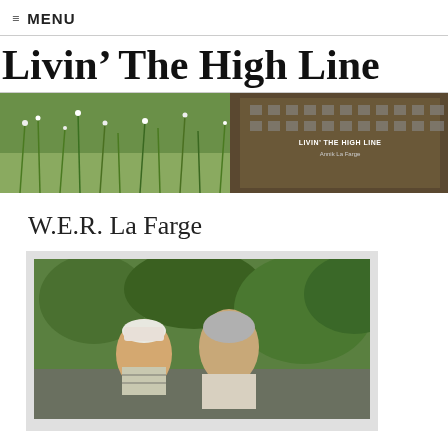≡ MENU
Livin' The High Line
[Figure (photo): Banner photo of the High Line park with wildflowers and plants on the left, a brick building structure on the right. Text overlay reads 'LIVIN' THE HIGH LINE' and 'Annik La Farge']
W.E.R. La Farge
[Figure (photo): Vintage photograph of a young child wearing a white hat and striped shirt with an older gray-haired man, set against a green garden background with trees.]